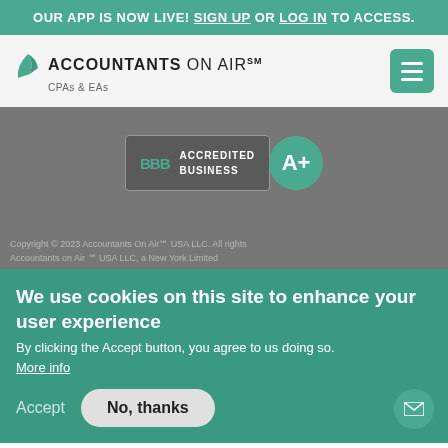OUR APP IS NOW LIVE! SIGN UP OR LOG IN TO ACCESS.
[Figure (logo): Accountants on Air logo with green leaf/plane icon, text 'ACCOUNTANTS ON AIR SM' and subtitle 'CPAs & EAs']
[Figure (other): BBB Accredited Business badge with A+ rating on gray background]
We use cookies on this site to enhance your user experience
By clicking the Accept button, you agree to us doing so.
More info
Accept   No, thanks